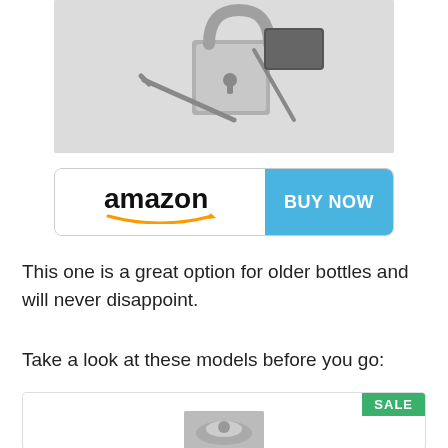[Figure (photo): Product photo of a metal padlock with keys on a light gray background]
[Figure (other): Amazon Buy Now button — left half shows amazon logo with orange arrow, right half is blue with BUY NOW text]
This one is a great option for older bottles and will never disappoint.
Take a look at these models before you go:
[Figure (photo): Product listing card with green SALE badge in top-right corner and a small product image below]